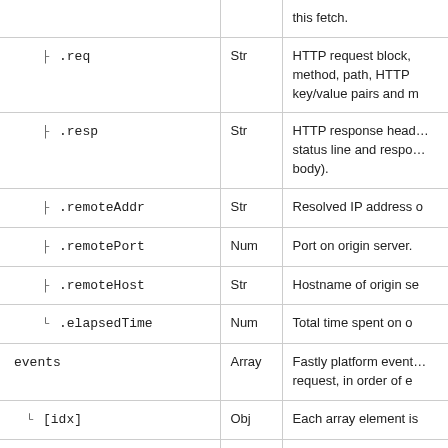| Field | Type | Description |
| --- | --- | --- |
|  |  | this fetch. |
| ├ .req | Str | HTTP request block, method, path, HTTP key/value pairs and m… |
| ├ .resp | Str | HTTP response head… status line and respo… body). |
| ├ .remoteAddr | Str | Resolved IP address o… |
| ├ .remotePort | Num | Port on origin server. |
| ├ .remoteHost | Str | Hostname of origin se… |
| └ .elapsedTime | Num | Total time spent on o… |
| events | Array | Fastly platform event… request, in order of e… |
| └ [idx] | Obj | Each array element is… |
| ├ .type | Str | One of vcl-sub, lo… Compute@Edge eve… |